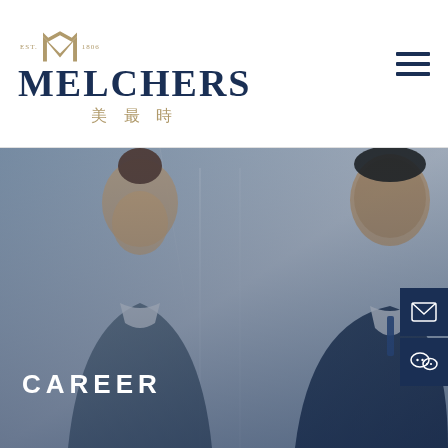[Figure (logo): Melchers company logo with M emblem, EST. 1806, company name MELCHERS in dark navy, and Chinese characters 美最時 in gold below]
[Figure (photo): Hero image showing two smiling professionals in business attire (a woman and a man) against a modern architectural background, with CAREER text overlay at bottom left and social media icons on the right side]
CAREER